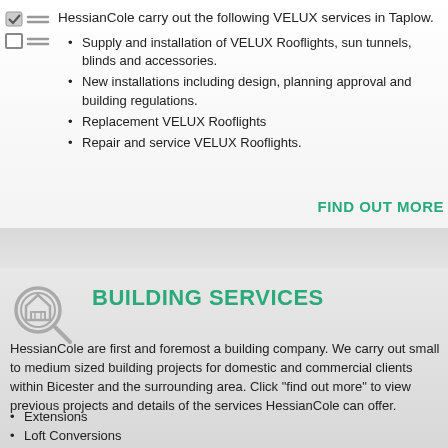HessianCole carry out the following VELUX services in Taplow.
Supply and installation of VELUX Rooflights, sun tunnels, blinds and accessories.
New installations including design, planning approval and building regulations.
Replacement VELUX Rooflights
Repair and service VELUX Rooflights.
FIND OUT MORE
[Figure (illustration): Magnifying glass with a house icon inside, grey outline style]
BUILDING SERVICES
HessianCole are first and foremost a building company.  We carry out small to medium sized building projects for domestic and commercial clients within Bicester and the surrounding area.  Click "find out more" to view previous projects and details of the services HessianCole can offer.
Extensions
Loft Conversions
Kitchens & Bathrooms
Refurbishment & Renovation
Structural Alterations